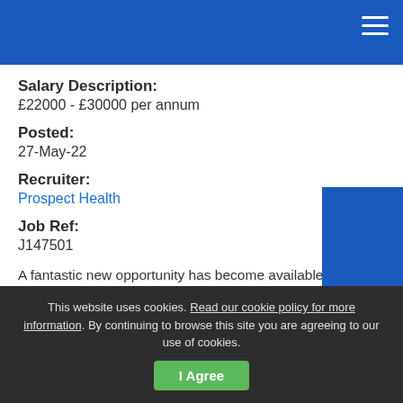Salary Description:
£22000 - £30000 per annum
Posted:
27-May-22
Recruiter:
Prospect Health
Job Ref:
J147501
A fantastic new opportunity has become available for a Dispensing Optician or if preferred Dispensing Optician/Manager, to join a well-established and reputable Optical practice based near Leamington Spa on a part or full-time basis.
This website uses cookies. Read our cookie policy for more information. By continuing to browse this site you are agreeing to our use of cookies.